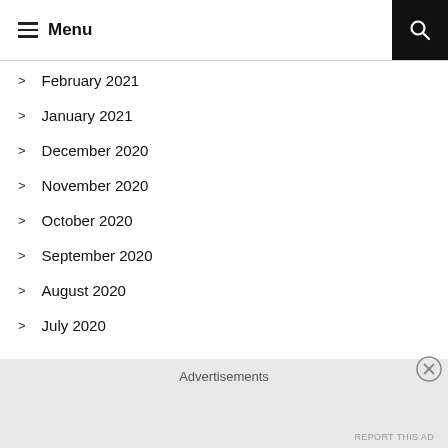Menu
February 2021
January 2021
December 2020
November 2020
October 2020
September 2020
August 2020
July 2020
Advertisements
REPORT THIS AD